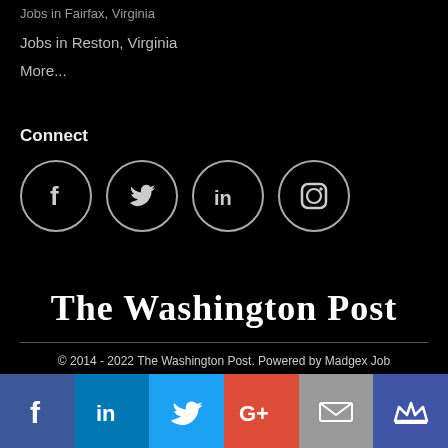Jobs in Fairfax, Virginia
Jobs in Reston, Virginia
More...
Connect
[Figure (infographic): Four circular social media icons: Facebook, Twitter, LinkedIn, Instagram]
[Figure (logo): The Washington Post logo in blackletter/old English style font]
© 2014 - 2022 The Washington Post. Powered by Madgex Job Board Software
[Figure (infographic): Bottom social sharing bar with Facebook, LinkedIn, Twitter, Google+, Email, and King icons in colored panels]